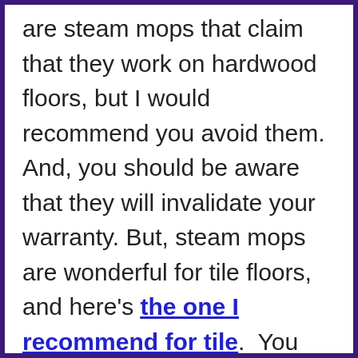are steam mops that claim that they work on hardwood floors, but I would recommend you avoid them.  And, you should be aware that they will invalidate your warranty. But, steam mops are wonderful for tile floors, and here's the one I recommend for tile.  You